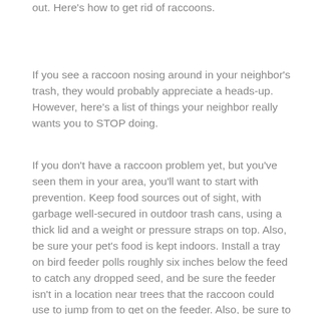out. Here's how to get rid of raccoons.
If you see a raccoon nosing around in your neighbor's trash, they would probably appreciate a heads-up. However, here's a list of things your neighbor really wants you to STOP doing.
If you don't have a raccoon problem yet, but you've seen them in your area, you'll want to start with prevention. Keep food sources out of sight, with garbage well-secured in outdoor trash cans, using a thick lid and a weight or pressure straps on top. Also, be sure your pet's food is kept indoors. Install a tray on bird feeder polls roughly six inches below the feed to catch any dropped seed, and be sure the feeder isn't in a location near trees that the raccoon could use to jump from to get on the feeder. Also, be sure to cut trees back to six or eight feet from your home so raccoons can't get to your roof and make their way into the attic to form their den.